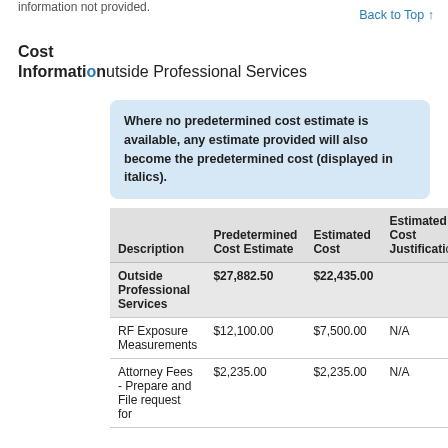information not provided.
Back to Top ↑
Cost Information
Outside Professional Services
Where no predetermined cost estimate is available, any estimate provided will also become the predetermined cost (displayed in italics).
| Description | Predetermined Cost Estimate | Estimated Cost | Estimated Cost Justification |
| --- | --- | --- | --- |
| Outside Professional Services | $27,882.50 | $22,435.00 |  |
| RF Exposure Measurements | $12,100.00 | $7,500.00 | N/A |
| Attorney Fees - Prepare and File request for | $2,235.00 | $2,235.00 | N/A |